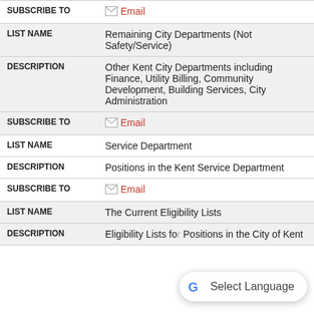| SUBSCRIBE TO | Email |
| LIST NAME | Remaining City Departments (Not Safety/Service) |
| DESCRIPTION | Other Kent City Departments including Finance, Utility Billing, Community Development, Building Services, City Administration |
| SUBSCRIBE TO | Email |
| LIST NAME | Service Department |
| DESCRIPTION | Positions in the Kent Service Department |
| SUBSCRIBE TO | Email |
| LIST NAME | The Current Eligibility Lists |
| DESCRIPTION | Eligibility Lists for Positions in the City of Kent |